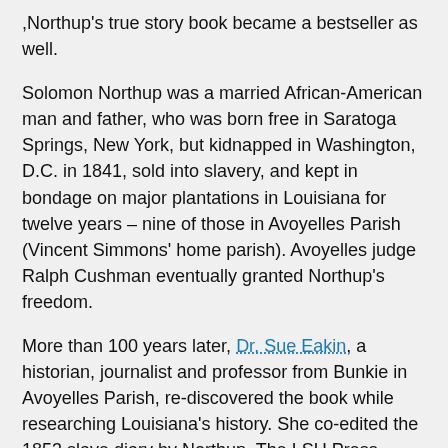,Northup's true story book became a bestseller as well.
Solomon Northup was a married African-American man and father, who was born free in Saratoga Springs, New York, but kidnapped in Washington, D.C. in 1841, sold into slavery, and kept in bondage on major plantations in Louisiana for twelve years – nine of those in Avoyelles Parish (Vincent Simmons' home parish). Avoyelles judge Ralph Cushman eventually granted Northup's freedom.
More than 100 years later, Dr. Sue Eakin, a historian, journalist and professor from Bunkie in Avoyelles Parish, re-discovered the book while researching Louisiana's history. She co-edited the 1853 slave diary by Northup. The LSU Press published it in 1968.
Audio Book